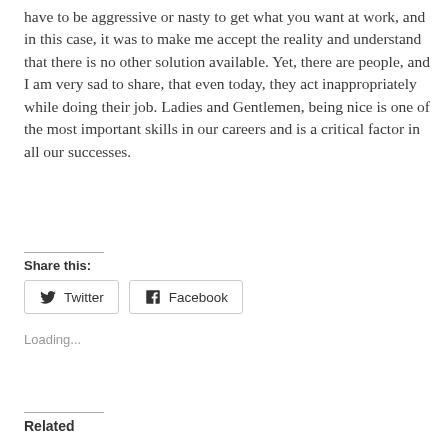have to be aggressive or nasty to get what you want at work, and in this case, it was to make me accept the reality and understand that there is no other solution available. Yet, there are people, and I am very sad to share, that even today, they act inappropriately while doing their job. Ladies and Gentlemen, being nice is one of the most important skills in our careers and is a critical factor in all our successes.
Share this:
[Figure (other): Social share buttons: Twitter and Facebook]
Loading...
Related